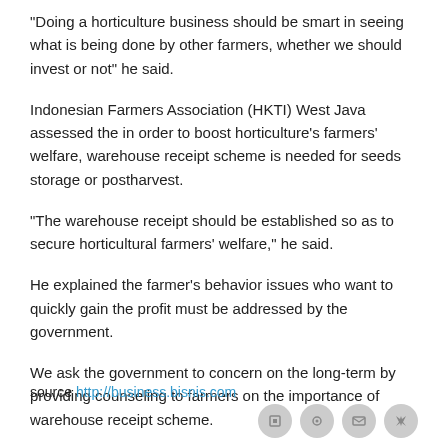"Doing a horticulture business should be smart in seeing what is being done by other farmers, whether we should invest or not" he said.
Indonesian Farmers Association (HKTI) West Java assessed the in order to boost horticulture’s farmers’ welfare, warehouse receipt scheme is needed for seeds storage or postharvest.
"The warehouse receipt should be established so as to secure horticultural farmers’ welfare," he said.
He explained the farmer’s behavior issues who want to quickly gain the profit must be addressed by the government.
We ask the government to concern on the long-term by providing counseling to farmers on the importance of warehouse receipt scheme.
source http://business.bisnis.com